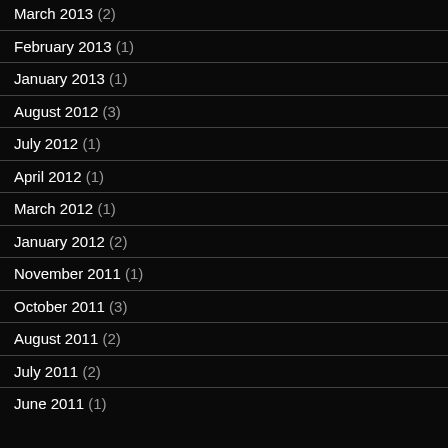March 2013 (2)
February 2013 (1)
January 2013 (1)
August 2012 (3)
July 2012 (1)
April 2012 (1)
March 2012 (1)
January 2012 (2)
November 2011 (1)
October 2011 (3)
August 2011 (2)
July 2011 (2)
June 2011 (1)